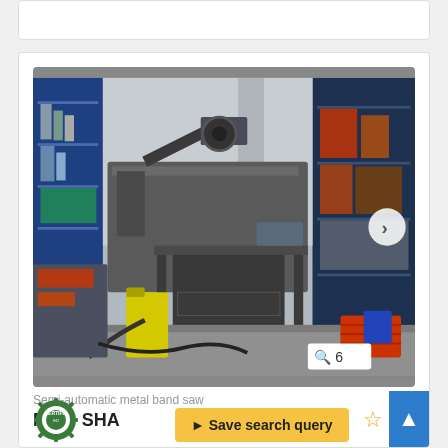[Figure (photo): Workshop photo showing a semi-automatic metal band saw on a workbench in an industrial workshop. Blue shelving units visible in background with various tools and equipment. Yellow item (possibly pressure washer) and red basket visible in foreground.]
Semi-automatic metal band saw
MEP  SHA
Save search query
[Figure (logo): Certified badge/seal - circular gear-shaped emblem with text ERTIFI visible]